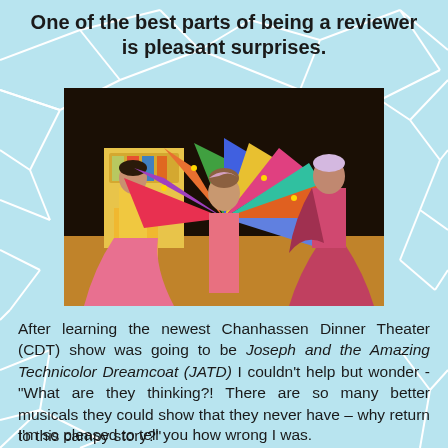One of the best parts of being a reviewer is pleasant surprises.
[Figure (photo): Three performers on stage in colorful flowing costumes. The center performer has arms outstretched with a large multicolored coat/dreamcoat spread wide. The two flanking performers wear long pink/red and yellow gowns. The stage setting has colorful backdrop elements.]
After learning the newest Chanhassen Dinner Theater (CDT) show was going to be Joseph and the Amazing Technicolor Dreamcoat (JATD) I couldn't help but wonder - "What are they thinking?! There are so many better musicals they could show that they never have – why return to this campy story?"
I'm so pleased to tell you how wrong I was.